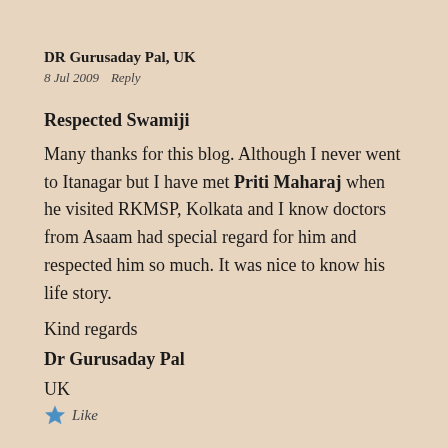DR Gurusaday Pal, UK
8 Jul 2009   Reply
Respected Swamiji
Many thanks for this blog. Although I never went to Itanagar but I have met Priti Maharaj when he visited RKMSP, Kolkata and I know doctors from Asaam had special regard for him and respected him so much. It was nice to know his life story.
Kind regards
Dr Gurusaday Pal
UK
Like